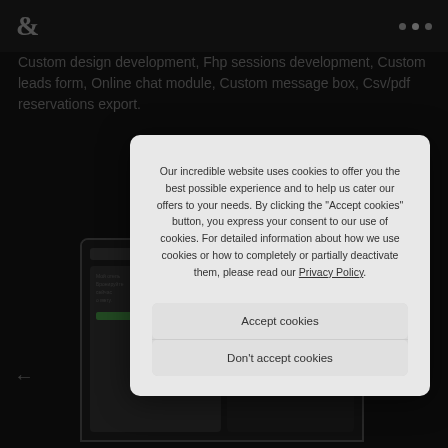& (logo) with navigation dots
Custom design development, Fhp sessions development, Custom leads form, Online chat module, Custom message box, Csv/pdf reservations export.
[Figure (screenshot): Screenshot of a website displayed on a dark background, showing a property booking interface with a form and outdoor image]
Our incredible website uses cookies to offer you the best possible experience and to help us cater our offers to your needs. By clicking the "Accept cookies" button, you express your consent to our use of cookies. For detailed information about how we use cookies or how to completely or partially deactivate them, please read our Privacy Policy.
Accept cookies
Don't accept cookies